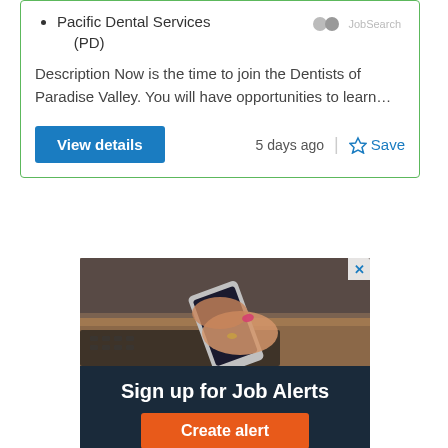Pacific Dental Services (PD)
Description Now is the time to join the Dentists of Paradise Valley. You will have opportunities to learn…
View details
5 days ago
Save
[Figure (photo): Person holding a smartphone over a laptop keyboard on a wooden desk; advertisement banner for job alerts]
Sign up for Job Alerts
Create alert